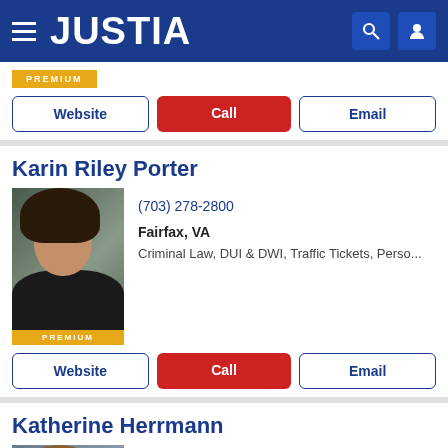JUSTIA
[Figure (logo): Justia website header with logo, hamburger menu, search and user icons on dark blue background]
[Figure (other): PREMIUM badge in gold/amber color]
Website | Call | Email (action buttons)
Karin Riley Porter
[Figure (photo): Professional headshot of Karin Riley Porter with PREMIUM badge]
(703) 278-2800
Fairfax, VA
Criminal Law, DUI & DWI, Traffic Tickets, Perso...
Website | Call | Email (action buttons)
Katherine Herrmann
[Figure (photo): Professional headshot of Katherine Herrmann]
(703) 791-9087
Arlington, VA